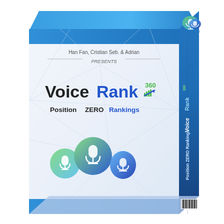[Figure (illustration): 3D software product box for VoiceRank 360. The box has a white/light blue gradient front face with a blue top strip and blue bottom strip. The front shows 'Han Fan, Cristian Seb. & Adrian PRESENTS' text, the VoiceRank 360 logo with a trending arrow/chart icon, 'Position ZERO Rankings' subtitle, and three overlapping microphone cloud icons in green and blue gradient. The right side of the box is darker blue showing the VoiceRank 360 logo text rotated vertically and Position ZERO Rankings text, plus a barcode in the bottom right. The top face is in blue gradient. There are geometric triangle polygon lines on the front face.]